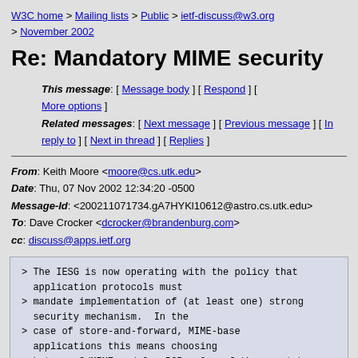W3C home > Mailing lists > Public > ietf-discuss@w3.org > November 2002
Re: Mandatory MIME security
This message: [ Message body ] [ Respond ] [ More options ] Related messages: [ Next message ] [ Previous message ] [ In reply to ] [ Next in thread ] [ Replies ]
From: Keith Moore <moore@cs.utk.edu>
Date: Thu, 07 Nov 2002 12:34:20 -0500
Message-Id: <200211071734.gA7HYKl10612@astro.cs.utk.edu>
To: Dave Crocker <dcrocker@brandenburg.com>
cc: discuss@apps.ietf.org
> The IESG is now operating with the policy that application protocols must
> mandate implementation of (at least one) strong security mechanism.  In the
> case of store-and-forward, MIME-base applications this means choosing
> between S/MIME and OpenPGP.  One of them must be